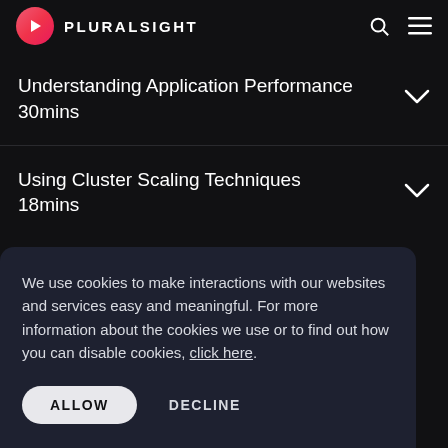PLURALSIGHT
Understanding Application Performance 30mins
Using Cluster Scaling Techniques 18mins
We use cookies to make interactions with our websites and services easy and meaningful. For more information about the cookies we use or to find out how you can disable cookies, click here.
ALLOW   DECLINE